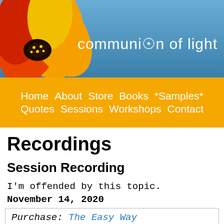[Figure (illustration): Website banner with a red and yellow flower on the left, blue ocean/sky background, and 'communion of light' text logo on the right in white sans-serif font]
Home  About  Store  Books  *Samples*  Quotes  Sessions  Workshops  Contact
Recordings
Session Recording
I'm offended by this topic.
November 14, 2020
Purchase: The Easy Way